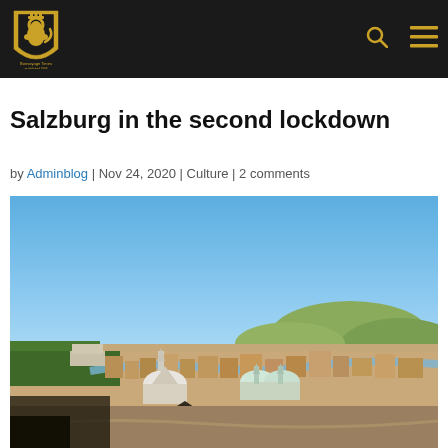Bonvoyage Times – established 1993 [logo + navigation bar]
Salzburg in the second lockdown
by Adminblog | Nov 24, 2020 | Culture | 2 comments
[Figure (photo): Aerial panoramic photograph of Salzburg city under a clear blue sky, showing historic rooftops, church domes, a river winding through the city, and hills in the background.]